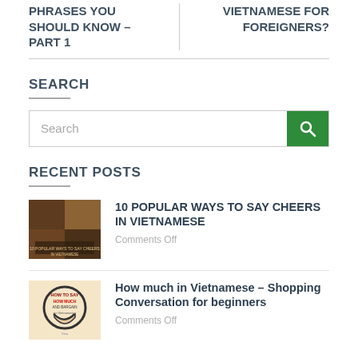PHRASES YOU SHOULD KNOW – PART 1
VIETNAMESE FOR FOREIGNERS?
SEARCH
Search
RECENT POSTS
10 POPULAR WAYS TO SAY CHEERS IN VIETNAMESE
Comments Off
How much in Vietnamese – Shopping Conversation for beginners
Comments Off